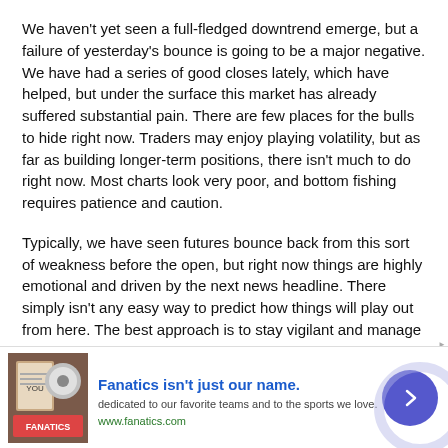We haven't yet seen a full-fledged downtrend emerge, but a failure of yesterday's bounce is going to be a major negative. We have had a series of good closes lately, which have helped, but under the surface this market has already suffered substantial pain. There are few places for the bulls to hide right now. Traders may enjoy playing volatility, but as far as building longer-term positions, there isn't much to do right now. Most charts look very poor, and bottom fishing requires patience and caution.
Typically, we have seen futures bounce back from this sort of weakness before the open, but right now things are highly emotional and driven by the next news headline. There simply isn't any easy way to predict how things will play out from here. The best approach is to stay vigilant and manage capital very carefully. There is nothing to
[Figure (other): Advertisement banner for Fanatics. Shows book/merchandise image on left, bold blue headline 'Fanatics isn't just our name.', subtext 'dedicated to our favorite teams and to the sports we love.' and URL 'www.fanatics.com'. Purple arrow button on right.]